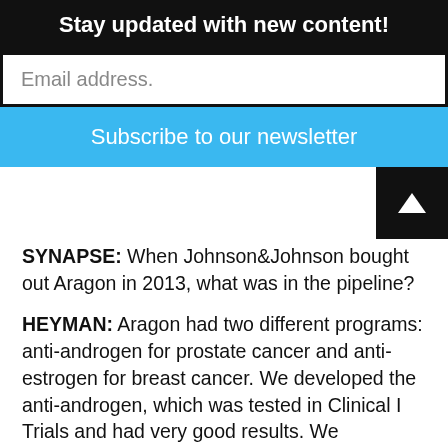Stay updated with new content!
Email address.
Subscribe to our newsletter
SYNAPSE: When Johnson&Johnson bought out Aragon in 2013, what was in the pipeline?
HEYMAN: Aragon had two different programs: anti-androgen for prostate cancer and anti-estrogen for breast cancer. We developed the anti-androgen, which was tested in Clinical I Trials and had very good results. We expanded to Phase II, and had very encouraging results. We treated about 100 men who had late-stage metastatic prostate cancer. At the same time, our breast